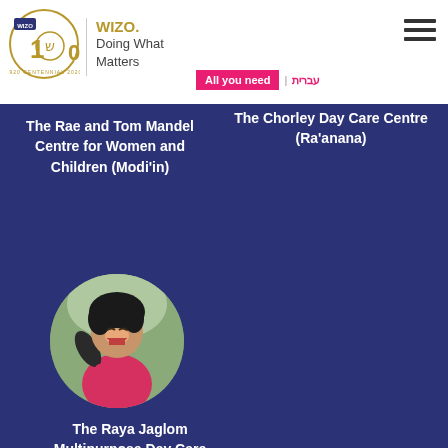[Figure (logo): WIZO centennial logo 1920-2020 with circular design and Hebrew text]
WIZO.
Doing What
Matters
All you need | עברית
[Figure (other): Hamburger menu icon (three horizontal lines)]
The Rae and Tom Mandel Centre for Women and Children (Modi'in)
The Chorley Day Care Centre (Ra'anana)
[Figure (photo): Young child with curly hair laughing and looking up, wearing a pink jacket, circular crop]
The Raya Jaglom Multipurpose Day Care